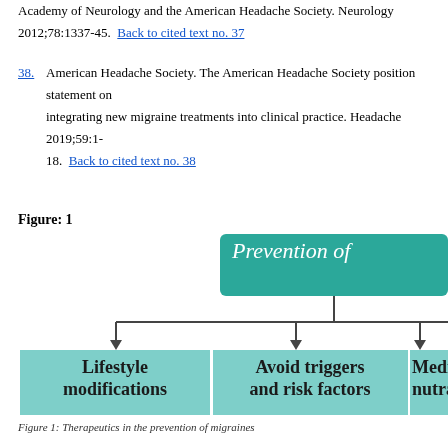Academy of Neurology and the American Headache Society. Neurology 2012;78:1337-45. Back to cited text no. 37
38. American Headache Society. The American Headache Society position statement on integrating new migraine treatments into clinical practice. Headache 2019;59:1-18. Back to cited text no. 38
Figure: 1
[Figure (flowchart): Flowchart showing Prevention of migraine branching into three boxes: Lifestyle modifications, Avoid triggers and risk factors, Medications/nutraceuticals]
Figure 1: Therapeutics in the prevention of migraines